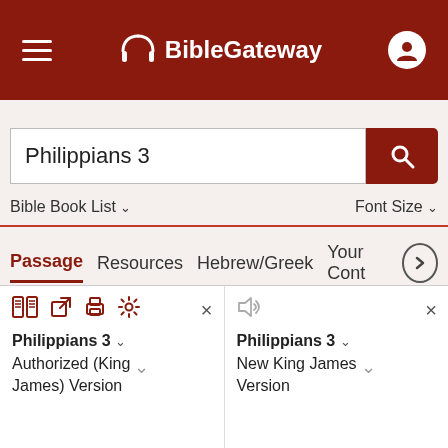BibleGateway
Philippians 3
Bible Book List ∨   Font Size ∨
Passage   Resources   Hebrew/Greek   Your Cont ❯
Philippians 3 ∨
Authorized (King James) Version ∨
Philippians 3 ∨
New King James Version ∨